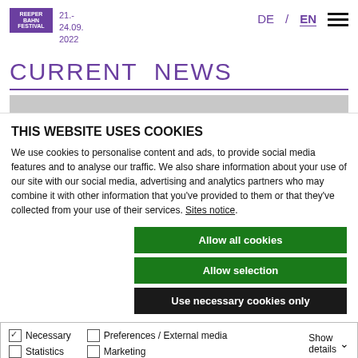Reeperbahn Festival 21.- 24.09. 2022 | DE / EN
CURRENT NEWS
THIS WEBSITE USES COOKIES
We use cookies to personalise content and ads, to provide social media features and to analyse our traffic. We also share information about your use of our site with our social media, advertising and analytics partners who may combine it with other information that you've provided to them or that they've collected from your use of their services. Sites notice.
Allow all cookies
Allow selection
Use necessary cookies only
Necessary | Preferences / External media | Show details | Statistics | Marketing